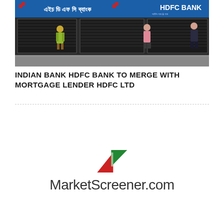[Figure (photo): Photograph of an HDFC Bank branch storefront with shutters closed. A blue signboard reads 'HDFC BANK' in English and Bengali script. Two people are visible standing near the closed shutters.]
INDIAN BANK HDFC BANK TO MERGE WITH MORTGAGE LENDER HDFC LTD
[Figure (logo): MarketScreener.com logo with a triangular arrow icon in red and green above the text 'MarketScreener.com']